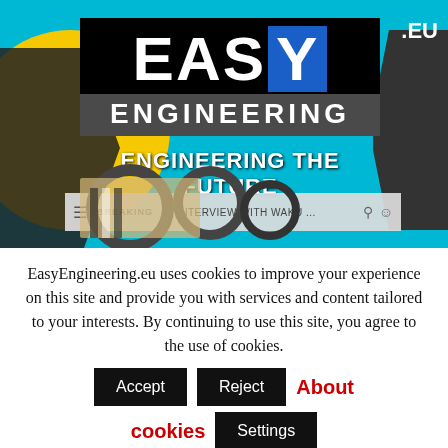[Figure (screenshot): EasyEngineering.eu website header screenshot showing logo, tagline 'ENGINEERING THE FUTURE', navigation bar with BREAKING news item 'INTERVIEW WITH WAKU...', on a cyan background with yellow circle and mechanical parts (gaskets, wrench, clamp)]
EasyEngineering.eu uses cookies to improve your experience on this site and provide you with services and content tailored to your interests. By continuing to use this site, you agree to the use of cookies. Accept Reject About cookies Settings